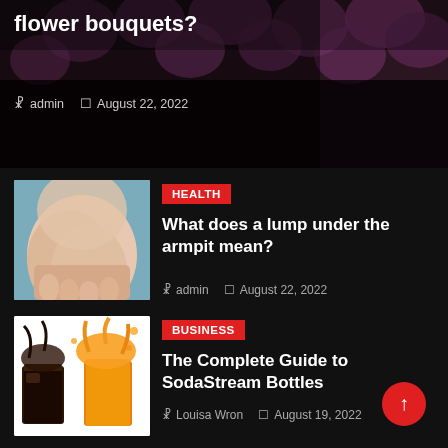[Figure (photo): Flower bouquets photo with dark overlay, showing purple/pink flowers]
flower bouquets?
admin   August 22, 2022
[Figure (photo): Person touching their armpit area, health-related image]
HEALTH
What does a lump under the armpit mean?
admin   August 22, 2022
[Figure (photo): Two drinks: a dark cola and an orange juice with splashes, on white background]
BUSINESS
The Complete Guide to SodaStream Bottles
Louisa Wron   August 19, 2022